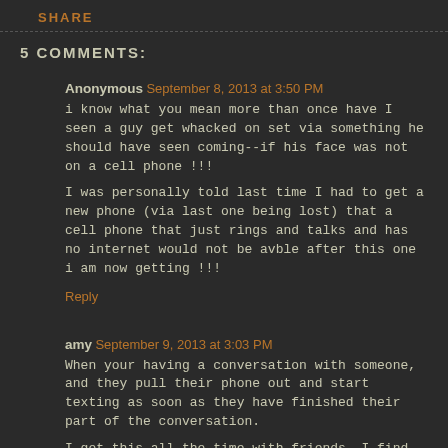SHARE
5 COMMENTS:
Anonymous  September 8, 2013 at 3:50 PM
i know what you mean more than once have I seen a guy get whacked on set via something he should have seen coming--if his face was not on a cell phone !!!

I was personally told last time I had to get a new phone (via last one being lost) that a cell phone that just rings and talks and has no internet would not be avble after this one i am now getting !!!

Reply
amy  September 9, 2013 at 3:03 PM
When your having a conversation with someone, and they pull their phone out and start texting as soon as they have finished their part of the conversation.

I get this all the time with friends. I find it rude but people who do it don't understand why they cant text and listen. I think we are getting used to multitasking with our technologies.
So much so that when people have nothing to do, they cant handle it so pull there phones out to distract themselves from